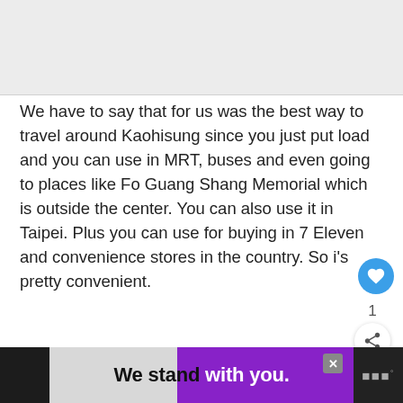[Figure (photo): Top image area showing a partial photograph, mostly light gray/white]
We have to say that for us was the best way to travel around Kaohisung since you just put load and you can use in MRT, buses and even going to places like Fo Guang Shang Memorial which is outside the center. You can also use it in Taipei. Plus you can use for buying in 7 Eleven and convenience stores in the country. So i's pretty convenient.
[Figure (photo): Partial photo of what appears to be transit/bus interior, cropped at bottom of visible area]
[Figure (screenshot): Advertisement banner at bottom: dark background with text 'We stand with you.' in bold white/black on gray and purple background, with close X button and logo on right]